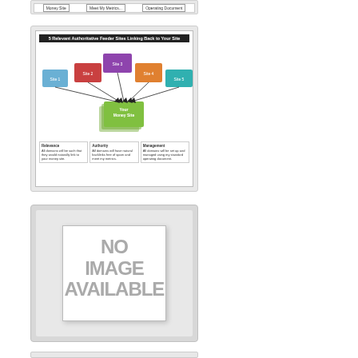[Figure (infographic): Top portion of a diagram showing a table/chart with columns for Money Site, Meet My Metrics, Operating Document — partially cut off at the top of the page]
[Figure (infographic): Diagram titled '5 Relevant Authoritative Feeder Sites Linking Back to Your Site' showing Site 1 through Site 5 boxes with arrows pointing to a green 'Your Money Site' box. Below are three columns: Relevance (All domains will be such that they would naturally link to your money site), Authority (All domains will have natural backlinks free of spam and meet my metrics), Management (All domains will be set up and managed using my standard operating document).]
[Figure (photo): Gray placeholder image with text 'NO IMAGE AVAILABLE' in large gray letters on a white polaroid-style background inside a light gray rounded box.]
[Figure (other): Bottom partial image — only the top edge visible, appears to be another diagram or infographic, cut off at the bottom of the page.]